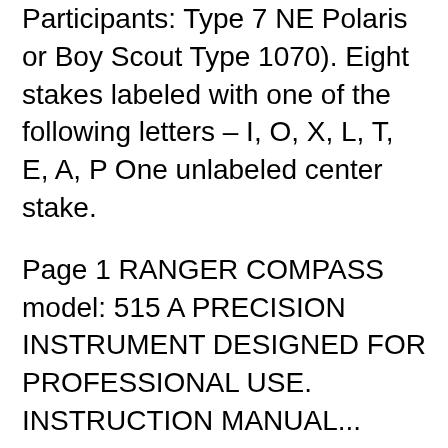Participants: Type 7 NE Polaris or Boy Scout Type 1070). Eight stakes labeled with one of the following letters – I, O, X, L, T, E, A, P One unlabeled center stake.
Page 1 RANGER COMPASS model: 515 A PRECISION INSTRUMENT DESIGNED FOR PROFESSIONAL USE. INSTRUCTION MANUAL... Page 2 Your Silva Ranger is finely crafted to withstand rigors associated with the out- door professions. It is a rugged, durable piece of equipment that, with proper care, will remain dependable and accurate. Sighting Compass. Expedition 54 Compass pdf manual download. Silva Expedition 54. Compass Silva 515